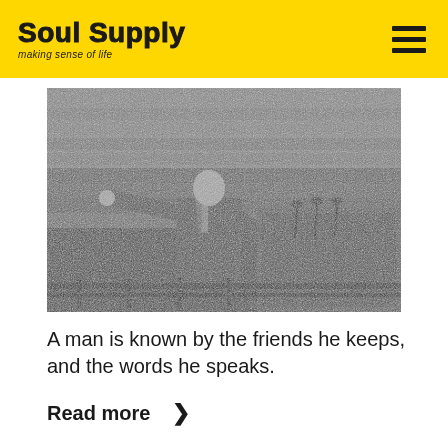Soul Supply — making sense of life
[Figure (photo): Black and white photograph of a man in a suit standing at a podium with microphones, pointing outward toward a large crowd in the background.]
A man is known by the friends he keeps, and the words he speaks.
Read more ❯